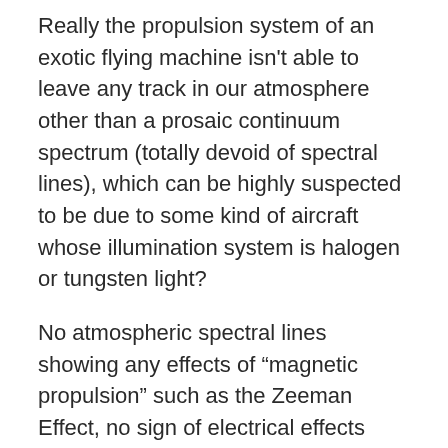Really the propulsion system of an exotic flying machine isn't able to leave any track in our atmosphere other than a prosaic continuum spectrum (totally devoid of spectral lines), which can be highly suspected to be due to some kind of aircraft whose illumination system is halogen or tungsten light?
No atmospheric spectral lines showing any effects of “magnetic propulsion” such as the Zeeman Effect, no sign of electrical effects such the Stark effect? No release of substances in the air of some sort, which would be well detectable through spectral lines of specific chemical elements, that are in case altered by the fields produced by that hypothetic engine?
And yet normal aircrafts do not perform such